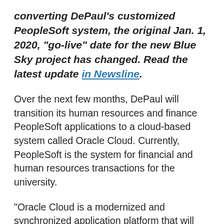converting DePaul's customized PeopleSoft system, the original Jan. 1, 2020, "go-live" date for the new Blue Sky project has changed. Read the latest update in Newsline.
Over the next few months, DePaul will transition its human resources and finance PeopleSoft applications to a cloud-based system called Oracle Cloud. Currently, PeopleSoft is the system for financial and human resources transactions for the university.
“Oracle Cloud is a modernized and synchronized application platform that will allow university employees to spend less time on administration